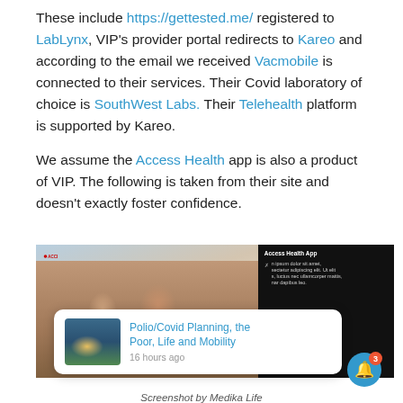These include https://gettested.me/ registered to LabLynx, VIP's provider portal redirects to Kareo and according to the email we received Vacmobile is connected to their services. Their Covid laboratory of choice is SouthWest Labs. Their Telehealth platform is supported by Kareo.
We assume the Access Health app is also a product of VIP. The following is taken from their site and doesn't exactly foster confidence.
[Figure (screenshot): Screenshot of Access Health app website showing a photo of smiling people on the left and black panel on the right with 'Access Health App' text and lorem ipsum content. A notification popup overlays showing 'Polio/Covid Planning, the Poor, Life and Mobility – 16 hours ago' with a thumbnail. A blue bell notification button with badge '3' appears bottom right.]
Screenshot by Medika Life